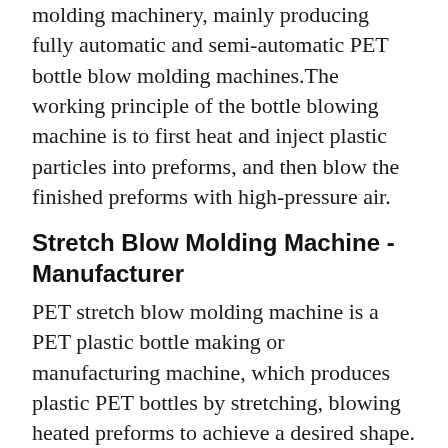molding machinery, mainly producing fully automatic and semi-automatic PET bottle blow molding machines.The working principle of the bottle blowing machine is to first heat and inject plastic particles into preforms, and then blow the finished preforms with high-pressure air.
Stretch Blow Molding Machine - Manufacturer
PET stretch blow molding machine is a PET plastic bottle making or manufacturing machine, which produces plastic PET bottles by stretching, blowing heated preforms to achieve a desired shape. Based on the molding method, there are one stage and two stage stretch blow molding machine.
2000 BPH Fully Automatic PET Blow Moulding Machine - YouTube
Dunamis Machines Manufacturing Plant at RedHills Alamathi(Near NDDB Semin Station.) Chennai, Tamilnaduwww.dunamismachines.inemail: